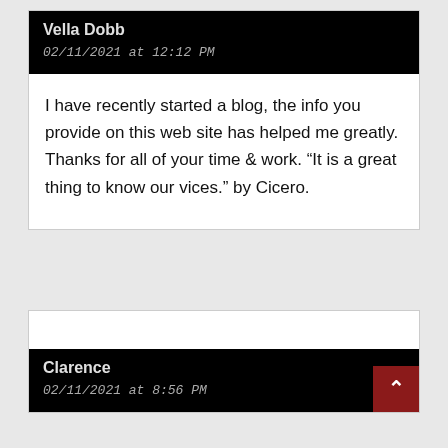Vella Dobb
02/11/2021 at 12:12 PM
I have recently started a blog, the info you provide on this web site has helped me greatly. Thanks for all of your time & work. "It is a great thing to know our vices." by Cicero.
Clarence
02/11/2021 at 8:56 PM